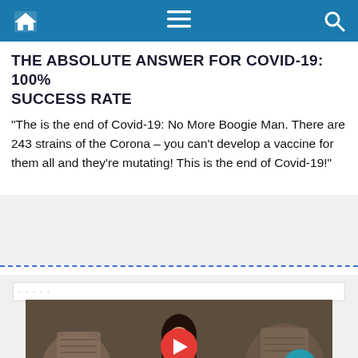Navigation bar with home, menu, and search icons
THE ABSOLUTE ANSWER FOR COVID-19: 100% SUCCESS RATE
“The is the end of Covid-19: No More Boogie Man. There are 243 strains of the Corona – you can’t develop a vaccine for them all and they’re mutating! This is the end of Covid-19!”
[Figure (screenshot): Video screenshot showing a woman sitting in front of wicker baskets/furniture, with a red play button overlay in the center and a teal scroll-up button at bottom right.]